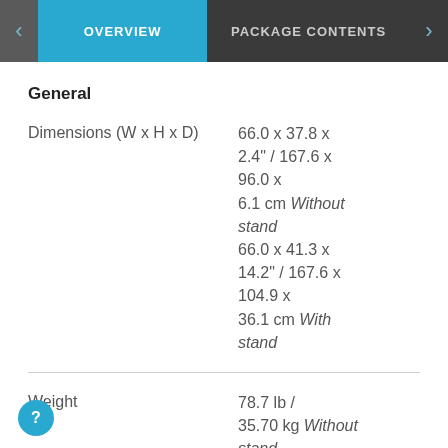OVERVIEW | PACKAGE CONTENTS
General
|  |  |
| --- | --- |
| Dimensions (W x H x D) | 66.0 x 37.8 x 2.4" / 167.6 x 96.0 x 6.1 cm Without stand
66.0 x 41.3 x 14.2" / 167.6 x 104.9 x 36.1 cm With stand |
| Weight | 78.7 lb / 35.70 kg Without stand
30.7 lb /... |